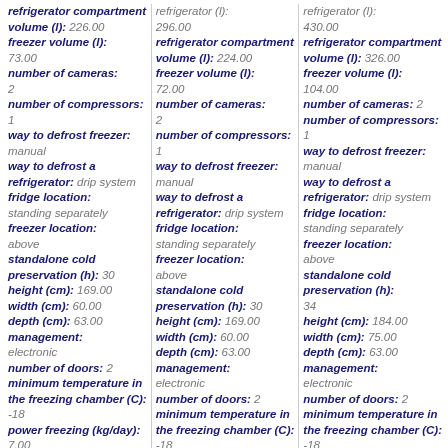refrigerator compartment volume (l): 226.00 freezer volume (l): 73.00 number of cameras: 2 number of compressors: 1 way to defrost freezer: manual way to defrost a refrigerator: drip system fridge location: standing separately freezer location: above standalone cold preservation (h): 30 height (cm): 169.00 width (cm): 60.00 depth (cm): 63.00 management: electronic number of doors: 2 minimum temperature in the freezing chamber (C): -18 power freezing (kg/day): 7.00
refrigerator (l): 296.00 refrigerator compartment volume (l): 224.00 freezer volume (l): 72.00 number of cameras: 2 number of compressors: 1 way to defrost freezer: manual way to defrost a refrigerator: drip system fridge location: standing separately freezer location: above standalone cold preservation (h): 30 height (cm): 169.00 width (cm): 60.00 depth (cm): 63.00 management: electronic number of doors: 2 minimum temperature in the freezing chamber (C): -18 power freezing
refrigerator (l): 430.00 refrigerator compartment volume (l): 326.00 freezer volume (l): 104.00 number of cameras: 2 number of compressors: 1 way to defrost freezer: manual way to defrost a refrigerator: drip system fridge location: standing separately freezer location: above standalone cold preservation (h): 34 height (cm): 184.00 width (cm): 75.00 depth (cm): 63.00 management: electronic number of doors: 2 minimum temperature in the freezing chamber (C): -18